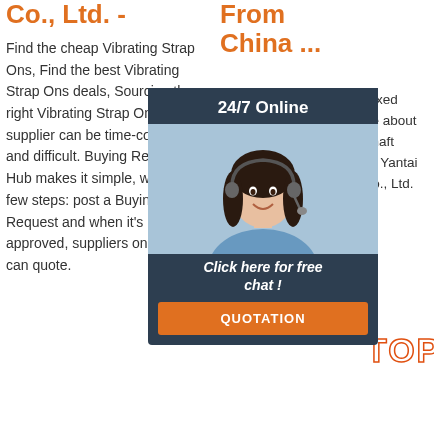Co., Ltd. -
Find the cheap Vibrating Strap Ons, Find the best Vibrating Strap Ons deals, Sourcing the right Vibrating Strap Ons supplier can be time-consuming and difficult. Buying Request Hub makes it simple, with just a few steps: post a Buying Request and when it's approved, suppliers on our site can quote.
[Figure (other): Orange 'Get Price' button]
From China ...
China Professional Self-Fixed Screen Shaft Screen Price about Screen Con from Fixed Shaft Screen with Cheap Price - Yantai Fulin Mining Machinery Co., Ltd.
[Figure (infographic): 24/7 Online chat popup with woman wearing headset, 'Click here for free chat!' text and QUOTATION button]
[Figure (other): TOP watermark in orange/red dots]